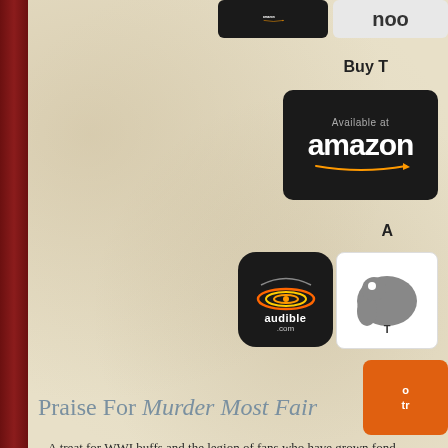[Figure (logo): Amazon 'Available at' button, black background with white amazon logo and orange arrow, top area partially visible]
[Figure (logo): Nook button partially visible on right edge]
Buy T
[Figure (logo): Large Amazon 'Available at amazon' button, black background]
[Figure (logo): Audible .com button with sound-wave icon]
[Figure (logo): ThriftBooks button with elephant logo, partially visible on right]
[Figure (logo): Orange button partially visible at bottom right]
Praise For Murder Most Fair
...A treat for WWI buffs and the legion of fans who have grown fond
- Publishers Weekly
...a beautifully written and told story.
- Aunt Agatha's